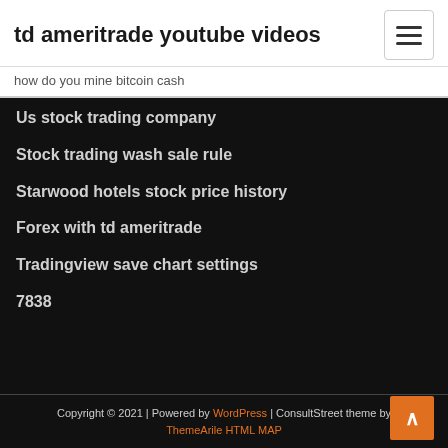td ameritrade youtube videos
how do you mine bitcoin cash
Us stock trading company
Stock trading wash sale rule
Starwood hotels stock price history
Forex with td ameritrade
Tradingview save chart settings
7838
Copyright © 2021 | Powered by WordPress | ConsultStreet theme by ThemeArile HTML MAP